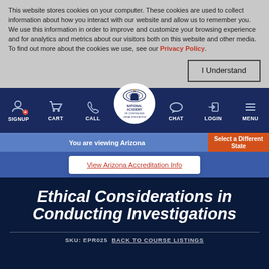This website stores cookies on your computer. These cookies are used to collect information about how you interact with our website and allow us to remember you. We use this information in order to improve and customize your browsing experience and for analytics and metrics about our visitors both on this website and other media. To find out more about the cookies we use, see our Privacy Policy.
I Understand
[Figure (screenshot): Navigation bar with SIGNUP, CART, CALL, National Academy of Continuing Legal Education logo, CHAT, LOGIN, MENU icons on dark blue background]
You are viewing Arizona
Select a Different State
View Arizona Accreditation Info
Ethical Considerations in Conducting Investigations
SKU: EPR025 BACK TO COURSE LISTINGS